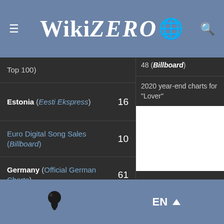WikiZero
| Chart | Position | Notes |
| --- | --- | --- |
| Top 100) | 48 (Billboard) |  |
| Estonia (Eesti Ekspress) | 16 | 2020 year-end charts for "Lover" |
| Euro Digital Song Sales (Billboard) | 10 |  |
| Germany (Official German Charts) | 61 |  |
| Greece International (IFPI) | 15 |  |
EN